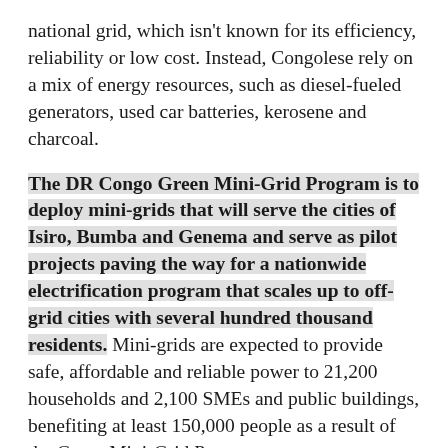national grid, which isn't known for its efficiency, reliability or low cost. Instead, Congolese rely on a mix of energy resources, such as diesel-fueled generators, used car batteries, kerosene and charcoal.
The DR Congo Green Mini-Grid Program is to deploy mini-grids that will serve the cities of Isiro, Bumba and Genema and serve as pilot projects paving the way for a nationwide electrification program that scales up to off-grid cities with several hundred thousand residents. Mini-grids are expected to provide safe, affordable and reliable power to 21,200 households and 2,100 SMEs and public buildings, benefiting at least 150,000 people as a result of the Green Mini-Grid Program.